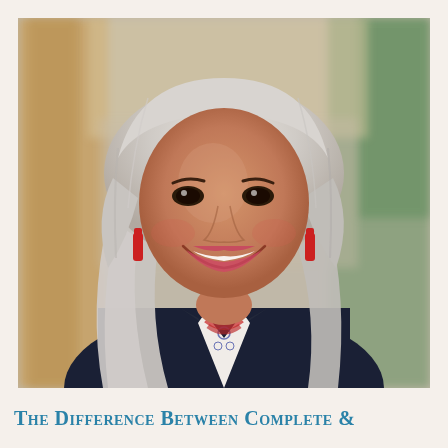[Figure (photo): Professional headshot of a middle-aged woman with long silver-gray wavy hair, wearing red drop earrings, a dark navy blazer, white embroidered blouse with blue floral pattern, and a red layered necklace. She is smiling broadly. The background is blurred outdoor setting with warm tones on the left (wooden post) and green foliage on the right.]
The Difference Between Complete &